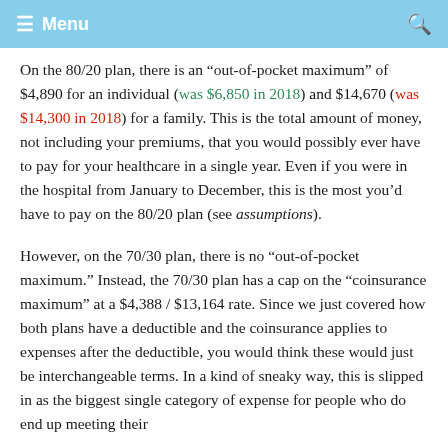Menu  [search icon]
On the 80/20 plan, there is an “out-of-pocket maximum” of $4,890 for an individual (was $6,850 in 2018) and $14,670 (was $14,300 in 2018) for a family. This is the total amount of money, not including your premiums, that you would possibly ever have to pay for your healthcare in a single year. Even if you were in the hospital from January to December, this is the most you’d have to pay on the 80/20 plan (see assumptions).
However, on the 70/30 plan, there is no “out-of-pocket maximum.” Instead, the 70/30 plan has a cap on the “coinsurance maximum” at a $4,388 / $13,164 rate. Since we just covered how both plans have a deductible and the coinsurance applies to expenses after the deductible, you would think these would just be interchangeable terms. In a kind of sneaky way, this is slipped in as the biggest single category of expense for people who do end up meeting their...